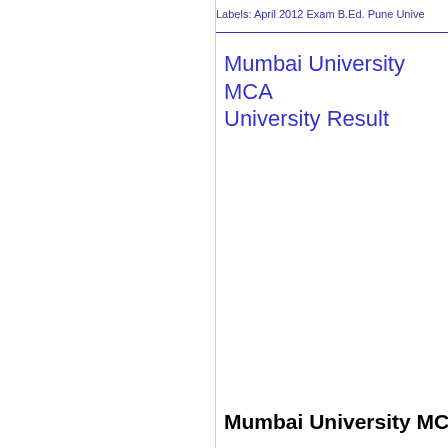Labels: April 2012 Exam B.Ed. Pune Unive
Mumbai University MCA University Result
Mumbai University MCA